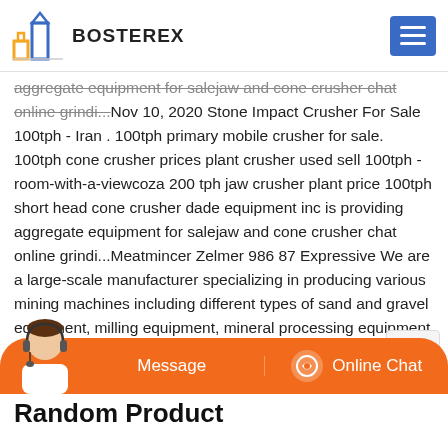BOSTEREX
aggregate equipment for salejaw and cone crusher chat online grindi...Nov 10, 2020 Stone Impact Crusher For Sale 100tph - Iran . 100tph primary mobile crusher for sale. 100tph cone crusher prices plant crusher used sell 100tph - room-with-a-viewcoza 200 tph jaw crusher plant price 100tph short head cone crusher dade equipment inc is providing aggregate equipment for salejaw and cone crusher chat online grindi...Meatmincer Zelmer 986 87 Expressive We are a large-scale manufacturer specializing in producing various mining machines including different types of sand and gravel equipment, milling equipment, mineral processing equipment and building materials equipment.We will reply you ASAP. High quality. Model Number MCL04D.M y xay tht Zelmer 986.87 Symbio. T l u chic m y xay tht kh ng c n qu xa l trong mi gia nh, M y xay tht Zelmer 986.87 Symbio l mt trong nhng sn phm m y xay tht n kh ch nht hin nay. Kh c hng nhng chic m y xay tht c ng nghip ngo i tr, M y xay tht Zelmer
Random Product